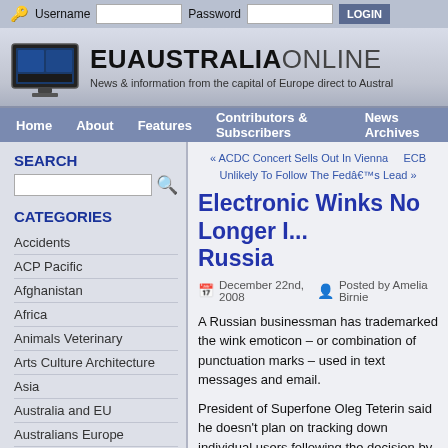Username  Password  LOGIN
EUAUSTRALIAONLINE — News & information from the capital of Europe direct to Austral
Home  About  Features  Contributors & Subscribers  News Archives
SEARCH
CATEGORIES
Accidents
ACP Pacific
Afghanistan
Africa
Animals Veterinary
Arts Culture Architecture
Asia
Australia and EU
Australians Europe
Austria
« ACDC Concert Sells Out In Vienna    ECB Unlikely To Follow The Fedâ€™s Lead »
Electronic Winks No Longer I... Russia
December 22nd, 2008   Posted by Amelia Birnie
A Russian businessman has trademarked the wink emoticon – or combination of punctuation marks – used in text messages and email.
President of Superfone Oleg Teterin said he doesn't plan on tracking down individual users following the decision by the federal patent agency.
"I want to highlight that this is only directed at corpor...